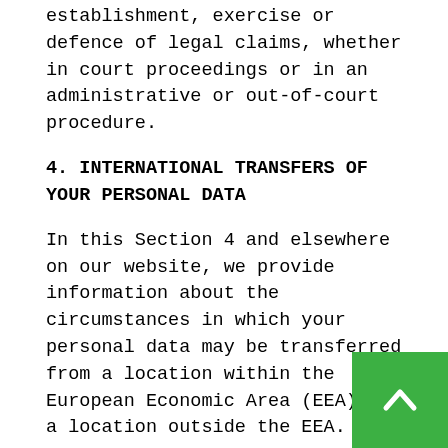establishment, exercise or defence of legal claims, whether in court proceedings or in an administrative or out-of-court procedure.
4. INTERNATIONAL TRANSFERS OF YOUR PERSONAL DATA
In this Section 4 and elsewhere on our website, we provide information about the circumstances in which your personal data may be transferred from a location within the European Economic Area (EEA) to a location outside the EEA.
In particular, we may make transfers to Australia, the Philippines, Singapore, Ukraine, the United Arab Emirates and/or the United States of America for the purpose of enabling the provision of hosting back-up and content delivery services. These transfers will be protected by appropriate